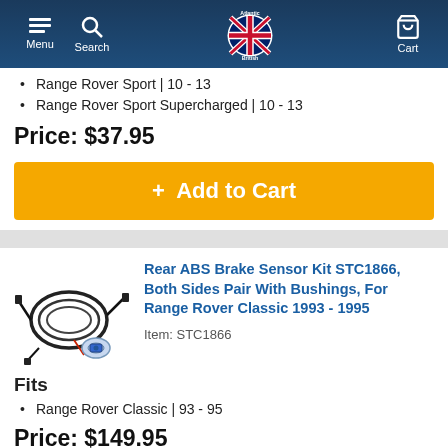Atlantic British — Menu | Search | Cart
Range Rover Sport | 10 - 13
Range Rover Sport Supercharged | 10 - 13
Price: $37.95
+ Add to Cart
[Figure (photo): Rear ABS brake sensor kit with wiring harness and bushings, black cables with small connectors]
Rear ABS Brake Sensor Kit STC1866, Both Sides Pair With Bushings, For Range Rover Classic 1993 - 1995
Item: STC1866
Fits
Range Rover Classic | 93 - 95
Price: $149.95